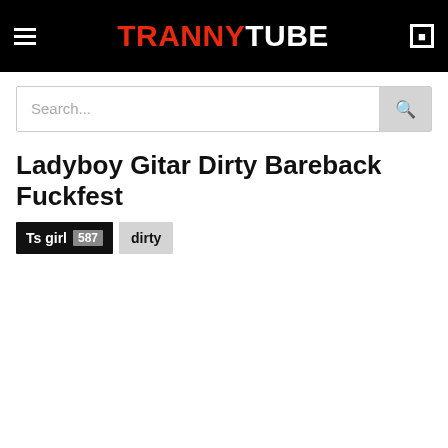TRANNYTUBE
Ladyboy Gitar Dirty Bareback Fuckfest
Ts girl 587
dirty